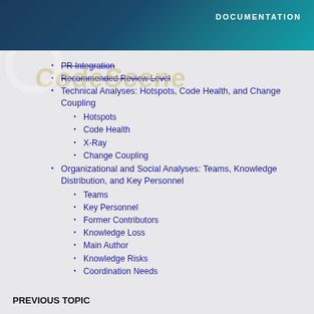DOCUMENTATION
PR Integration (struck through)
Recommended Review Level (struck through)
Technical Analyses: Hotspots, Code Health, and Change Coupling
Hotspots
Code Health
X-Ray
Change Coupling
Organizational and Social Analyses: Teams, Knowledge Distribution, and Key Personnel
Teams
Key Personnel
Former Contributors
Knowledge Loss
Main Author
Knowledge Risks
Coordination Needs
PREVIOUS TOPIC